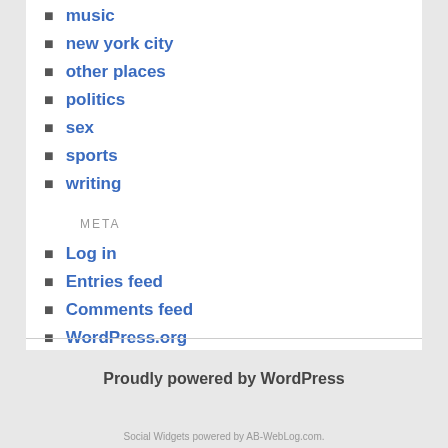music
new york city
other places
politics
sex
sports
writing
META
Log in
Entries feed
Comments feed
WordPress.org
[Un]Subscribe to Posts
Proudly powered by WordPress
Social Widgets powered by AB-WebLog.com.